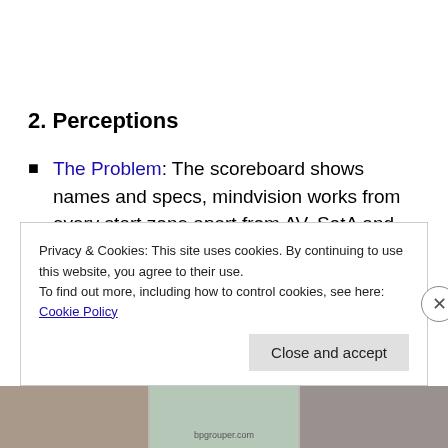2. Perceptions
The Problem: The scoreboard shows names and specs, mindvision works from every start zone apart from AV, SotA and Isle of Conquest and addons like Battleground Spy exist. Before the gates even open people have compared their team to the enemy team
Privacy & Cookies: This site uses cookies. By continuing to use this website, you agree to their use.
To find out more, including how to control cookies, see here: Cookie Policy
Close and accept
[Figure (photo): Bottom strip showing partial images at the bottom of the page]